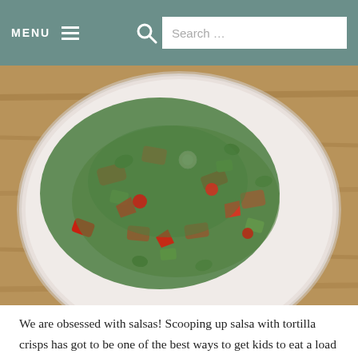MENU  Search …
[Figure (photo): Overhead close-up photo of a large white bowl filled with a colorful fresh salsa made of chopped red bell peppers, cucumber, tomatoes, and cilantro/parsley, sitting on a wooden surface.]
We are obsessed with salsas! Scooping up salsa with tortilla crisps has got to be one of the best ways to get kids to eat a load of fresh, raw veggies too. Putting out a big bowl of salsa and tortillas while the BBQ is getting going keeps everyone